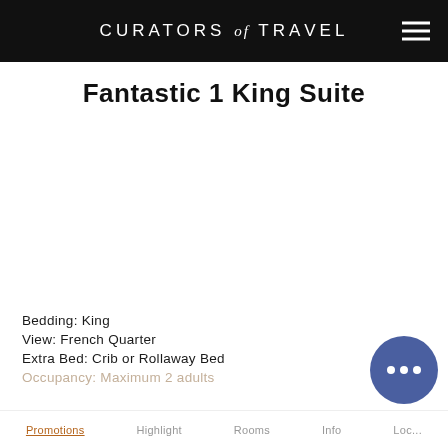CURATORS of TRAVEL
Fantastic 1 King Suite
[Figure (photo): Hotel room photo area (white/blank image area)]
Bedding: King
View: French Quarter
Extra Bed: Crib or Rollaway Bed
Occupancy: Maximum 2 adults
Promotions   Highlight   Rooms   Info   Location